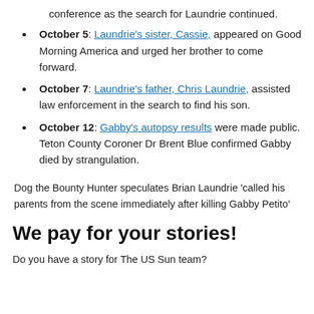conference as the search for Laundrie continued.
October 5: Laundrie's sister, Cassie, appeared on Good Morning America and urged her brother to come forward.
October 7: Laundrie's father, Chris Laundrie, assisted law enforcement in the search to find his son.
October 12: Gabby's autopsy results were made public. Teton County Coroner Dr Brent Blue confirmed Gabby died by strangulation.
Dog the Bounty Hunter speculates Brian Laundrie ‘called his parents from the scene immediately after killing Gabby Petito’
We pay for your stories!
Do you have a story for The US Sun team?